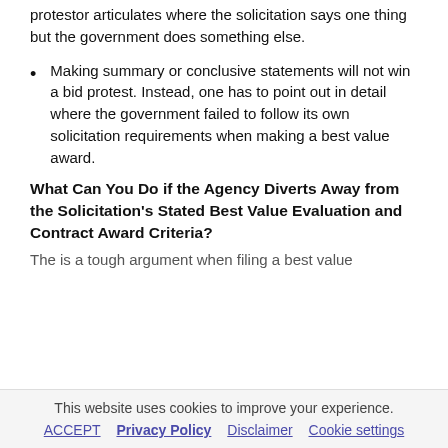protestor articulates where the solicitation says one thing but the government does something else.
Making summary or conclusive statements will not win a bid protest. Instead, one has to point out in detail where the government failed to follow its own solicitation requirements when making a best value award.
What Can You Do if the Agency Diverts Away from the Solicitation's Stated Best Value Evaluation and Contract Award Criteria?
The is a tough argument when filing a best value
This website uses cookies to improve your experience. ACCEPT  Privacy Policy  Disclaimer  Cookie settings